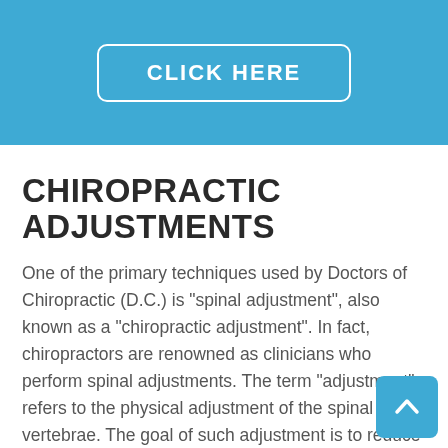[Figure (other): Blue header banner with a 'CLICK HERE' button outlined in white with rounded corners]
CHIROPRACTIC ADJUSTMENTS
One of the primary techniques used by Doctors of Chiropractic (D.C.) is "spinal adjustment", also known as a "chiropractic adjustment". In fact, chiropractors are renowned as clinicians who perform spinal adjustments. The term "adjustment" refers to the physical adjustment of the spinal vertebrae. The goal of such adjustment is to reduce vertebral subluxation